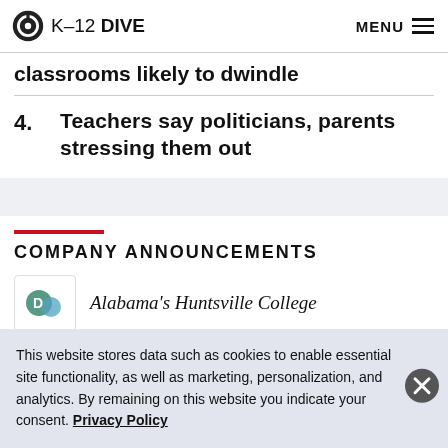K-12 DIVE   MENU
classrooms likely to dwindle
4. Teachers say politicians, parents stressing them out
COMPANY ANNOUNCEMENTS
Alabama's Huntsville College
This website stores data such as cookies to enable essential site functionality, as well as marketing, personalization, and analytics. By remaining on this website you indicate your consent. Privacy Policy